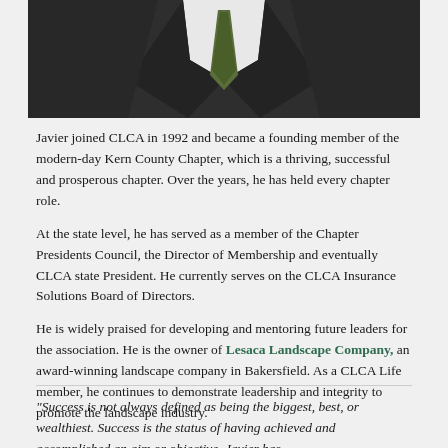[Figure (photo): Cropped photo of a man in a dark suit with a tie, visible from chest/shoulder area upward]
Javier joined CLCA in 1992 and became a founding member of the modern-day Kern County Chapter, which is a thriving, successful and prosperous chapter. Over the years, he has held every chapter role.
At the state level, he has served as a member of the Chapter Presidents Council, the Director of Membership and eventually CLCA state President. He currently serves on the CLCA Insurance Solutions Board of Directors.
He is widely praised for developing and mentoring future leaders for the association. He is the owner of Lesaca Landscape Company, an award-winning landscape company in Bakersfield. As a CLCA Life member, he continues to demonstrate leadership and integrity to promote the landscape industry.
"Success is not always defined as being the biggest, best, or wealthiest. Success is the status of having achieved and accomplished an aim or objective. Javier has